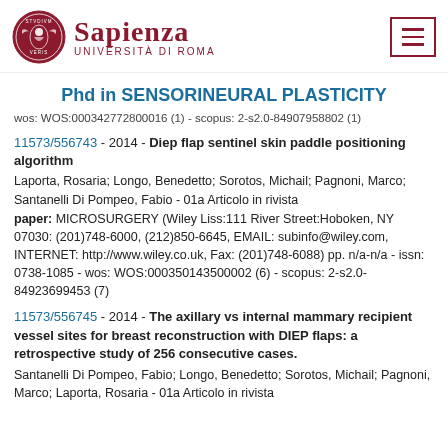[Figure (logo): Sapienza Università di Roma logo with circular seal and text]
Phd in SENSORINEURAL PLASTICITY
wos: WOS:000342772800016 (1) - scopus: 2-s2.0-84907958802 (1)
11573/556743 - 2014 - Diep flap sentinel skin paddle positioning algorithm
Laporta, Rosaria; Longo, Benedetto; Sorotos, Michail; Pagnoni, Marco; Santanelli Di Pompeo, Fabio - 01a Articolo in rivista
paper: MICROSURGERY (Wiley Liss:111 River Street:Hoboken, NY 07030:(201)748-6000, (212)850-6645, EMAIL: subinfo@wiley.com, INTERNET: http://www.wiley.co.uk, Fax: (201)748-6088) pp. n/a-n/a - issn: 0738-1085 - wos: WOS:000350143500002 (6) - scopus: 2-s2.0-84923699453 (7)
11573/556745 - 2014 - The axillary vs internal mammary recipient vessel sites for breast reconstruction with DIEP flaps: a retrospective study of 256 consecutive cases.
Santanelli Di Pompeo, Fabio; Longo, Benedetto; Sorotos, Michail; Pagnoni, Marco; Laporta, Rosaria - 01a Articolo in rivista